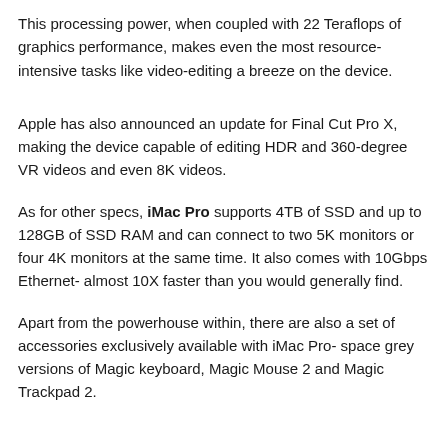This processing power, when coupled with 22 Teraflops of graphics performance, makes even the most resource-intensive tasks like video-editing a breeze on the device.
Apple has also announced an update for Final Cut Pro X, making the device capable of editing HDR and 360-degree VR videos and even 8K videos.
As for other specs, iMac Pro supports 4TB of SSD and up to 128GB of SSD RAM and can connect to two 5K monitors or four 4K monitors at the same time. It also comes with 10Gbps Ethernet- almost 10X faster than you would generally find.
Apart from the powerhouse within, there are also a set of accessories exclusively available with iMac Pro- space grey versions of Magic keyboard, Magic Mouse 2 and Magic Trackpad 2.